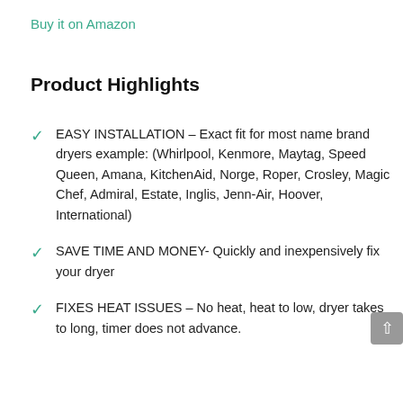Buy it on Amazon
Product Highlights
EASY INSTALLATION – Exact fit for most name brand dryers example: (Whirlpool, Kenmore, Maytag, Speed Queen, Amana, KitchenAid, Norge, Roper, Crosley, Magic Chef, Admiral, Estate, Inglis, Jenn-Air, Hoover, International)
SAVE TIME AND MONEY- Quickly and inexpensively fix your dryer
FIXES HEAT ISSUES – No heat, heat to low, dryer takes to long, timer does not advance.